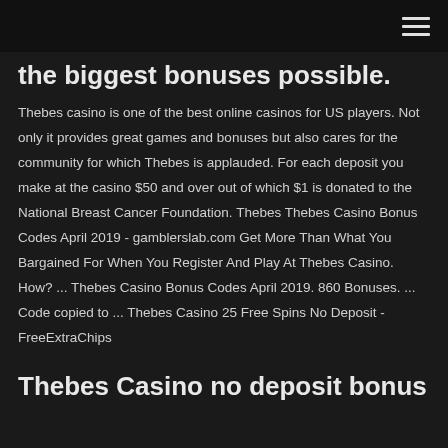the biggest bonuses possible.
Thebes casino is one of the best online casinos for US players. Not only it provides great games and bonuses but also cares for the community for which Thebes is applauded. For each deposit you make at the casino $50 and over out of which $1 is donated to the National Breast Cancer Foundation. Thebes Thebes Casino Bonus Codes April 2019 - gamblerslab.com Get More Than What You Bargained For When You Register And Play At Thebes Casino. How? ... Thebes Casino Bonus Codes April 2019. 860 Bonuses. ... Code copied to ... Thebes Casino 25 Free Spins No Deposit - FreeExtraChips
Thebes Casino no deposit bonus